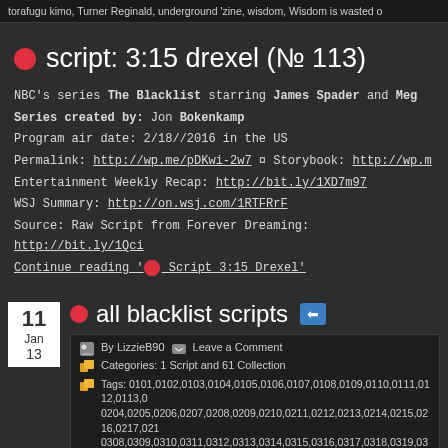torafugu kimo, Turner Reginald, underground 'zine, wisdom, Wisdom is wasted o
● script: 3:15 drexel (№ 113)
NBC's series The Blacklist starring James Spader and Meg
Series created by: Jon Bokenkamp
Program air date: 2/18//2016 in the US
Permalink: http://wp.me/pDKwi-2w7 ¤ Storybook: http://wp.m
Entertainment Weekly Recap: http://bit.ly/1XD7m97
WSJ Summary: http://on.wsj.com/1RTFRrF
Source: Raw Script from Forever Dreaming: http://bit.ly/1Qci
Continue reading '● Script 3:15 Drexel'
● all blacklist scripts ⬅
By LizzieB90   Leave a Comment
Categories: 1 Script and 61 Collection
Tags: 0101,0102,0103,0104,0105,0106,0107,0108,0109,0110,0111,0112,0113,0... 0204,0205,0206,0207,0208,0209,0210,0211,0212,0213,0214,0215,0216,0217,021... 0308,0309,0310,0311,0312,0313,0314,0315,0316,0317,0318,0319,0320,0321,032...